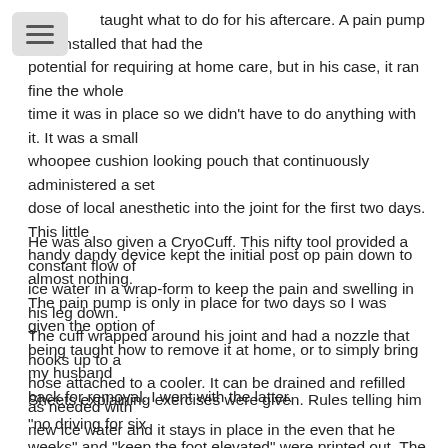taught what to do for his aftercare. A pain pump was installed that had the potential for requiring at home care, but in his case, it ran fine the whole time it was in place so we didn't have to do anything with it. It was a small whoopee cushion looking pouch that continuously administered a set dose of local anesthetic into the joint for the first two days. This little handy dandy device kept the initial post op pain down to almost nothing. The pain pump is only in place for two days so I was given the option of being taught how to remove it at home, or to simply bring my husband back for removal. I went with the latter.
He was also given a CryoCuff. This nifty tool provided a constant flow of ice water in a wrap-form to keep the pain and swelling in his leg down. The cuff wrapped around his joint and had a nozzle that hooks up to a hose attached to a cooler. It can be drained and refilled as needed with new ice water and it stays in place in the even that he needed to get up and move around.
Sheets explaining exercises were given. Rules telling him "no driving for six weeks" and "keep the foot elevated" were printed out. The prescription